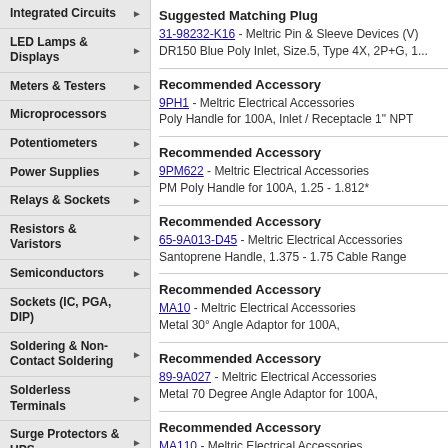Integrated Circuits
LED Lamps & Displays
Meters & Testers
Microprocessors
Potentiometers
Power Supplies
Relays & Sockets
Resistors & Varistors
Semiconductors
Sockets (IC, PGA, DIP)
Soldering & Non-Contact Soldering
Solderless Terminals
Surge Protectors & UPS
Switches
Terminal Blocks
Suggested Matching Plug
31-98232-K16 - Meltric Pin & Sleeve Devices (V) DR150 Blue Poly Inlet, Size.5, Type 4X, 2P+G, 1...
Recommended Accessory
9PH1 - Meltric Electrical Accessories
Poly Handle for 100A, Inlet / Receptacle 1" NPT
Recommended Accessory
9PM622 - Meltric Electrical Accessories
PM Poly Handle for 100A, 1.25 - 1.812*
Recommended Accessory
65-9A013-D45 - Meltric Electrical Accessories
Santoprene Handle, 1.375 - 1.75 Cable Range
Recommended Accessory
MA10 - Meltric Electrical Accessories
Metal 30° Angle Adaptor for 100A,
Recommended Accessory
89-9A027 - Meltric Electrical Accessories
Metal 70 Degree Angle Adaptor for 100A,
Recommended Accessory
MA110 - Meltric Electrical Accessories